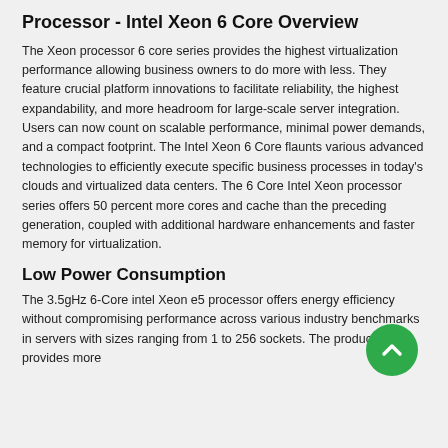Processor - Intel Xeon 6 Core Overview
The Xeon processor 6 core series provides the highest virtualization performance allowing business owners to do more with less. They feature crucial platform innovations to facilitate reliability, the highest expandability, and more headroom for large-scale server integration. Users can now count on scalable performance, minimal power demands, and a compact footprint. The Intel Xeon 6 Core flaunts various advanced technologies to efficiently execute specific business processes in today's clouds and virtualized data centers. The 6 Core Intel Xeon processor series offers 50 percent more cores and cache than the preceding generation, coupled with additional hardware enhancements and faster memory for virtualization.
Low Power Consumption
The 3.5gHz 6-Core intel Xeon e5 processor offers energy efficiency without compromising performance across various industry benchmarks in servers with sizes ranging from 1 to 256 sockets. The product family provides more